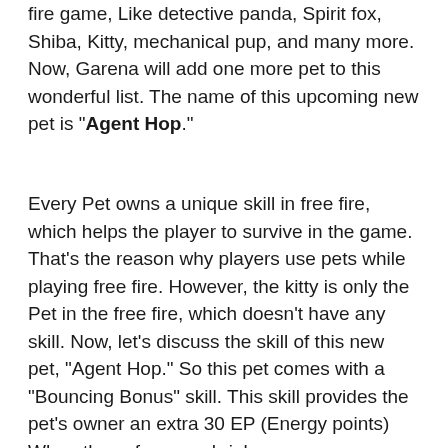fire game, Like detective panda, Spirit fox, Shiba, Kitty, mechanical pup, and many more. Now, Garena will add one more pet to this wonderful list. The name of this upcoming new pet is "Agent Hop."
Every Pet owns a unique skill in free fire, which helps the player to survive in the game. That's the reason why players use pets while playing free fire. However, the kitty is only the Pet in the free fire, which doesn't have any skill. Now, let's discuss the skill of this new pet, "Agent Hop." So this pet comes with a "Bouncing Bonus" skill. This skill provides the pet's owner an extra 30 EP (Energy points) When the safe zone shrinks.